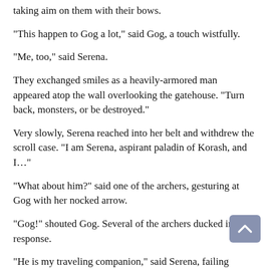taking aim on them with their bows.
“This happen to Gog a lot,” said Gog, a touch wistfully.
“Me, too,” said Serena.
They exchanged smiles as a heavily-armored man appeared atop the wall overlooking the gatehouse. “Turn back, monsters, or be destroyed.”
Very slowly, Serena reached into her belt and withdrew the scroll case. “I am Serena, aspirant paladin of Korash, and I…”
“What about him?” said one of the archers, gesturing at Gog with her nocked arrow.
“Gog!” shouted Gog. Several of the archers ducked in response.
“He is my traveling companion,” said Serena, failing